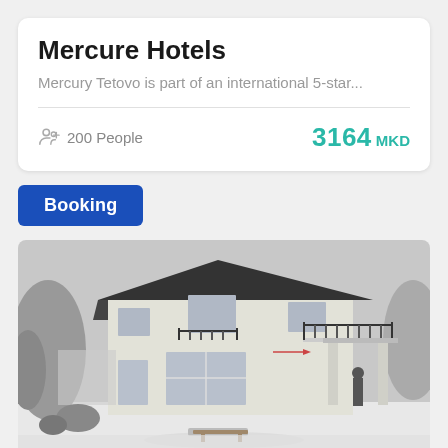Mercure Hotels
Mercury Tetovo is part of an international 5-star...
200 People
3164 MKD
Booking
[Figure (photo): Black and white photo of a modern two-storey white building with balconies, large windows, and a covered patio area, surrounded by snow on the ground and trees in the background.]